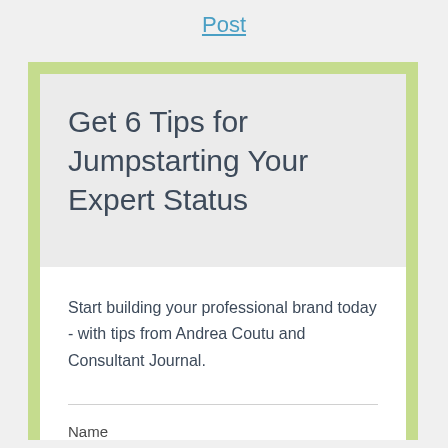Post
Get 6 Tips for Jumpstarting Your Expert Status
Start building your professional brand today - with tips from Andrea Coutu and Consultant Journal.
Name